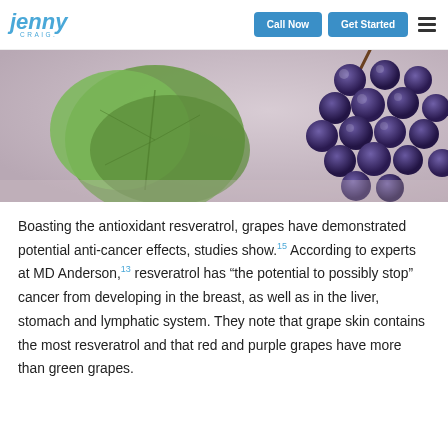Jenny Craig | Call Now | Get Started
[Figure (photo): Close-up photo of a cluster of dark blue/purple grapes hanging with green grape leaves visible, soft background blur.]
Boasting the antioxidant resveratrol, grapes have demonstrated potential anti-cancer effects, studies show.15 According to experts at MD Anderson,13 resveratrol has “the potential to possibly stop” cancer from developing in the breast, as well as in the liver, stomach and lymphatic system. They note that grape skin contains the most resveratrol and that red and purple grapes have more than green grapes.